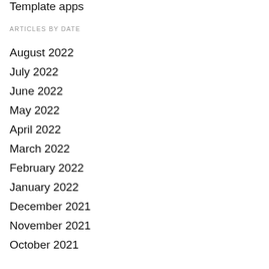Template apps
ARTICLES BY DATE
August 2022
July 2022
June 2022
May 2022
April 2022
March 2022
February 2022
January 2022
December 2021
November 2021
October 2021